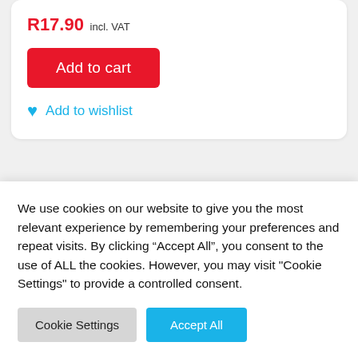R17.90 incl. VAT
Add to cart
Add to wishlist
[Figure (photo): Bottom portion of a product card showing a red product cap/lid at the bottom center]
We use cookies on our website to give you the most relevant experience by remembering your preferences and repeat visits. By clicking “Accept All”, you consent to the use of ALL the cookies. However, you may visit "Cookie Settings" to provide a controlled consent.
Cookie Settings
Accept All